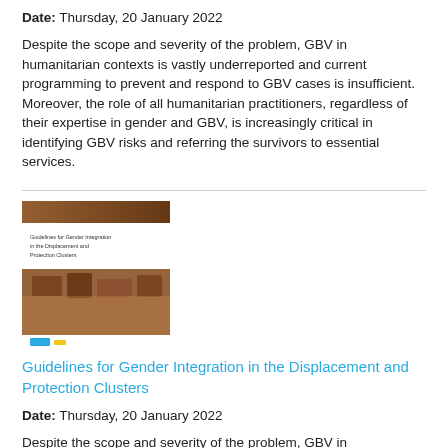Date: Thursday, 20 January 2022
Despite the scope and severity of the problem, GBV in humanitarian contexts is vastly underreported and current programming to prevent and respond to GBV cases is insufficient. Moreover, the role of all humanitarian practitioners, regardless of their expertise in gender and GBV, is increasingly critical in identifying GBV risks and referring the survivors to essential services.
[Figure (illustration): Book cover image of 'Guidelines for Gender Integration in the Displacement and Protection Clusters', showing a brown/orange textured cover with a crowd of people photo.]
Guidelines for Gender Integration in the Displacement and Protection Clusters
Date: Thursday, 20 January 2022
Despite the scope and severity of the problem, GBV in humanitarian contexts is vastly underreported and current programming to prevent and respond to GBV cases is insufficient. Moreover, the role of all humanitarian practitioners, regardless of their expertise in